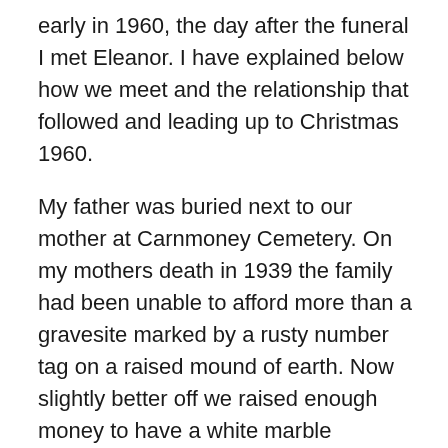early in 1960, the day after the funeral I met Eleanor. I have explained below how we meet and the relationship that followed and leading up to Christmas 1960.
My father was buried next to our mother at Carnmoney Cemetery. On my mothers death in 1939 the family had been unable to afford more than a gravesite marked by a rusty number tag on a raised mound of earth. Now slightly better off we raised enough money to have a white marble headstone and surround erected.
The day after the funeral, feeling sorry for myself, I wandered down the Ballygomartin Road. I wasn't heading in any particular direction and had no idea of what to do in the two remaining days of leave. Lost in a world of my own I almost collided with a girl coming from the opposite direction. Stopping to apologise I realized she looked